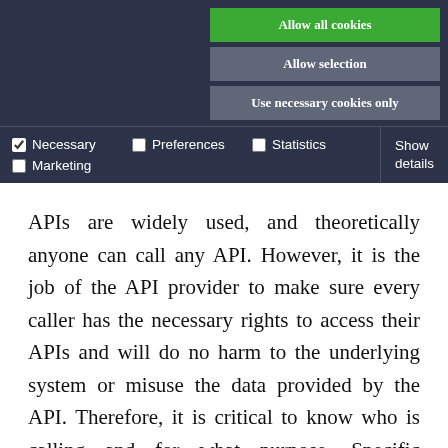[Figure (screenshot): Cookie consent banner UI with three buttons: 'Allow all cookies' (green), 'Allow selection' (gray), 'Use necessary cookies only' (gray), and a row of checkboxes for Necessary, Preferences, Statistics, Marketing, plus a 'Show details' link.]
APIs are widely used, and theoretically anyone can call any API. However, it is the job of the API provider to make sure every caller has the necessary rights to access their APIs and will do no harm to the underlying system or misuse the data provided by the API. Therefore, it is critical to know who is calling and for what purpose. Specific mechanisms for the authentication and authorization of API calls guarantee the legitimacy of callers. Here's how these mechanisms work